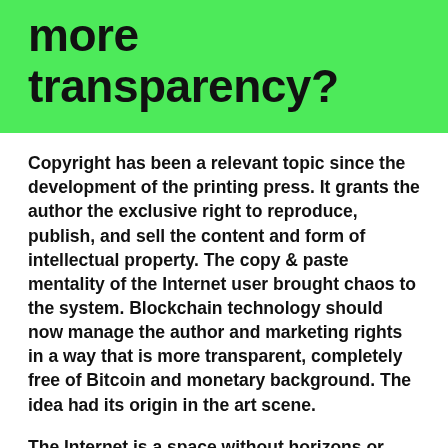more transparency?
Copyright has been a relevant topic since the development of the printing press. It grants the author the exclusive right to reproduce, publish, and sell the content and form of intellectual property. The copy & paste mentality of the Internet user brought chaos to the system. Blockchain technology should now manage the author and marketing rights in a way that is more transparent, completely free of Bitcoin and monetary background. The idea had its origin in the art scene.
The Internet is a space without horizons or frontiers. It has changed our environment and also, thereby, our sensory perception. In ‘the real world’ we are confronted everywhere by people gazing deeply into smartphones: on the street, on the subway, in